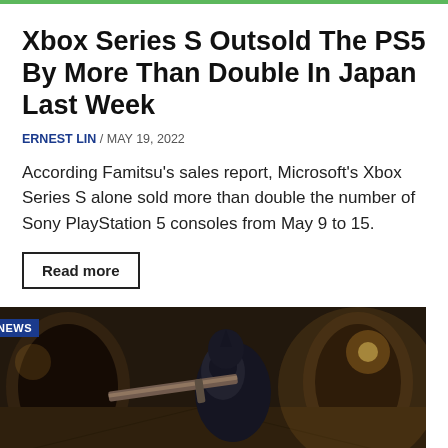Xbox Series S Outsold The PS5 By More Than Double In Japan Last Week
ERNEST LIN / MAY 19, 2022
According Famitsu's sales report, Microsoft's Xbox Series S alone sold more than double the number of Sony PlayStation 5 consoles from May 9 to 15.
Read more
[Figure (photo): Dark dungeon/castle corridor scene with an armored knight character holding a large sword, torchlit stone arches in background. NEWS badge overlay in top left.]